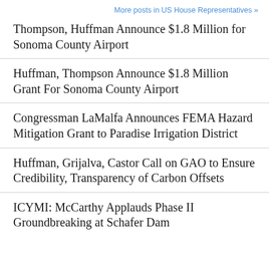More posts in US House Representatives »
Thompson, Huffman Announce $1.8 Million for Sonoma County Airport
Huffman, Thompson Announce $1.8 Million Grant For Sonoma County Airport
Congressman LaMalfa Announces FEMA Hazard Mitigation Grant to Paradise Irrigation District
Huffman, Grijalva, Castor Call on GAO to Ensure Credibility, Transparency of Carbon Offsets
ICYMI: McCarthy Applauds Phase II Groundbreaking at Schafer Dam